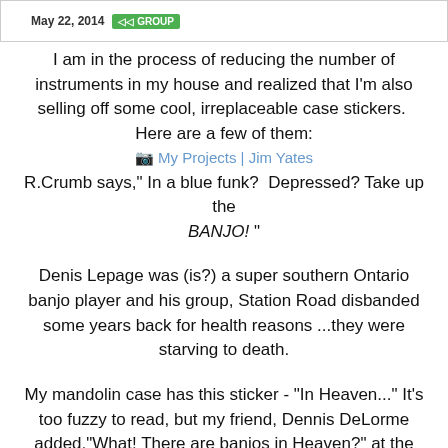May 22, 2014 | GROUP
I am in the process of reducing the number of instruments in my house and realized that I'm also selling off some cool, irreplaceable case stickers.  Here are a few of them:
My Projects | Jim Yates
R.Crumb says," In a blue funk?  Depressed? Take up the BANJO! "
Denis Lepage was (is?) a super southern Ontario banjo player and his group, Station Road disbanded some years back for health reasons ...they were starving to death.
My mandolin case has this sticker - "In Heaven..." It's too fuzzy to read, but my friend, Dennis DeLorme added,"What! There are banjos in Heaven?" at the bottom of the sticker.